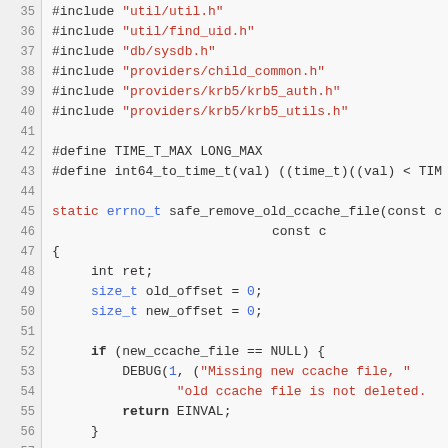[Figure (screenshot): Source code listing lines 35-57 of a C file showing #include directives, #define macros, and the beginning of the safe_remove_old_ccache_file function with variable declarations and a NULL check.]